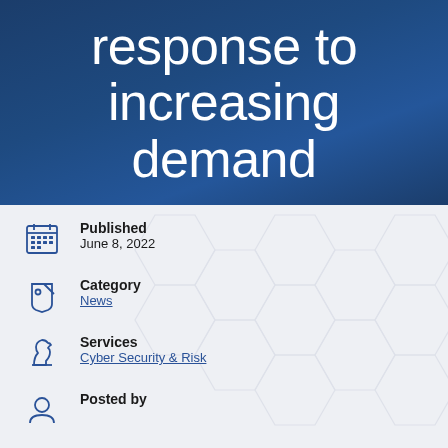response to increasing demand
Published
June 8, 2022
Category
News
Services
Cyber Security & Risk
Posted by